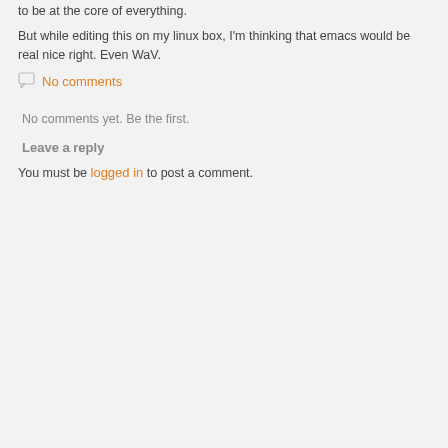to be at the core of everything.
But while editing this on my linux box, I'm thinking that emacs would be real nice right. Even WaV.
No comments
No comments yet. Be the first.
Leave a reply
You must be logged in to post a comment.